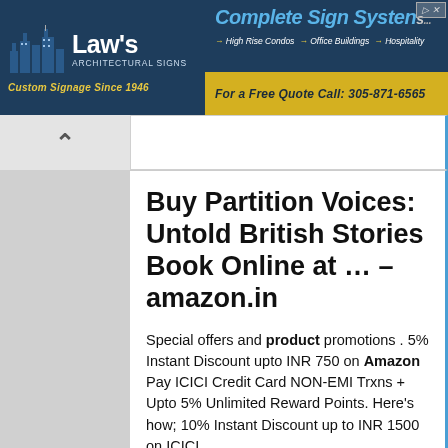[Figure (logo): Law's Architectural Signs – Custom Signage Since 1946 banner ad on left, Complete Sign Systems ad on right with gold bottom bar: For a Free Quote Call: 305-871-6565]
Buy Partition Voices: Untold British Stories Book Online at ... – amazon.in
Special offers and product promotions . 5% Instant Discount upto INR 750 on Amazon Pay ICICI Credit Card NON-EMI Trxns + Upto 5% Unlimited Reward Points. Here's how; 10% Instant Discount up to INR 1500 on ICICI